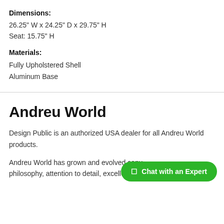Dimensions:
26.25" W x 24.25" D x 29.75" H
Seat: 15.75" H
Materials:
Fully Upholstered Shell
Aluminum Base
Andreu World
Design Public is an authorized USA dealer for all Andreu World products.
Andreu World has grown and evolved conv philosophy, attention to detail, excellence